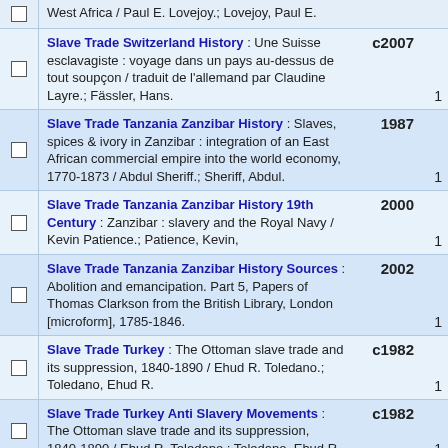West Africa / Paul E. Lovejoy.; Lovejoy, Paul E.
Slave Trade Switzerland History : Une Suisse esclavagiste : voyage dans un pays au-dessus de tout soupçon / traduit de l'allemand par Claudine Layre.; Fässler, Hans. c2007 1
Slave Trade Tanzania Zanzibar History : Slaves, spices & ivory in Zanzibar : integration of an East African commercial empire into the world economy, 1770-1873 / Abdul Sheriff.; Sheriff, Abdul. 1987 1
Slave Trade Tanzania Zanzibar History 19th Century : Zanzibar : slavery and the Royal Navy / Kevin Patience.; Patience, Kevin, 2000 1
Slave Trade Tanzania Zanzibar History Sources : Abolition and emancipation. Part 5, Papers of Thomas Clarkson from the British Library, London [microform], 1785-1846. 2002 1
Slave Trade Turkey : The Ottoman slave trade and its suppression, 1840-1890 / Ehud R. Toledano.; Toledano, Ehud R. c1982 1
Slave Trade Turkey Anti Slavery Movements : The Ottoman slave trade and its suppression, 1840-1890 / Ehud R. Toledano.; Toledano, Ehud R. c1982 1
Slave Trade Turkey History : The Ottoman slave trade and its suppression, 1840-1890 / Ehud R. Toledano.; Toledano, Ehud R. c1982 1